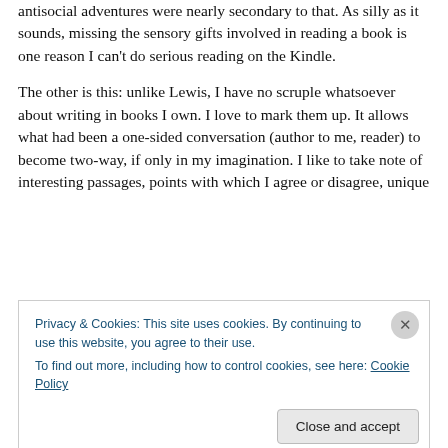antisocial adventures were nearly secondary to that. As silly as it sounds, missing the sensory gifts involved in reading a book is one reason I can't do serious reading on the Kindle.
The other is this: unlike Lewis, I have no scruple whatsoever about writing in books I own. I love to mark them up. It allows what had been a one-sided conversation (author to me, reader) to become two-way, if only in my imagination. I like to take note of interesting passages, points with which I agree or disagree, unique
Privacy & Cookies: This site uses cookies. By continuing to use this website, you agree to their use.
To find out more, including how to control cookies, see here: Cookie Policy
Close and accept